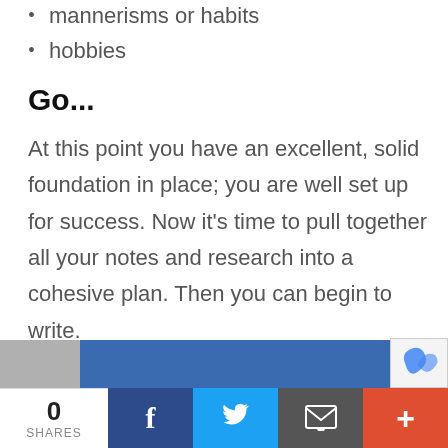mannerisms or habits
hobbies
Go...
At this point you have an excellent, solid foundation in place; you are well set up for success. Now it's time to pull together all your notes and research into a cohesive plan. Then you can begin to write.
Create an outline
[Figure (photo): Partial image strip at bottom of page with a photo on the left and a blue banner on the right, partially obscured]
0 SHARES | Facebook share | Twitter share | Email share | More